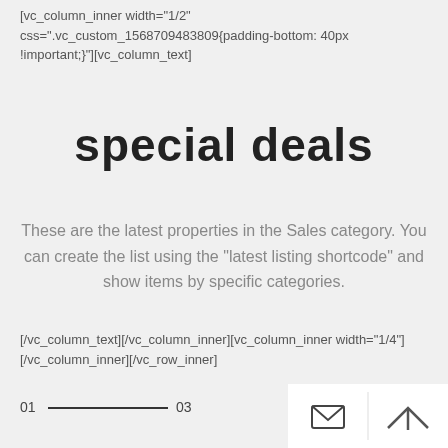[vc_column_inner width="1/2" css=".vc_custom_1568709483809{padding-bottom: 40px !important;}"][vc_column_text]
special deals
These are the latest properties in the Sales category. You can create the list using the “latest listing shortcode” and show items by specific categories.
[/vc_column_text][/vc_column_inner][vc_column_inner width="1/4"][/vc_column_inner][/vc_row_inner]
01 — 03
[Figure (other): Navigation arrows (left and right chevrons in blue) and bottom toolbar with envelope icon and up arrow icon]